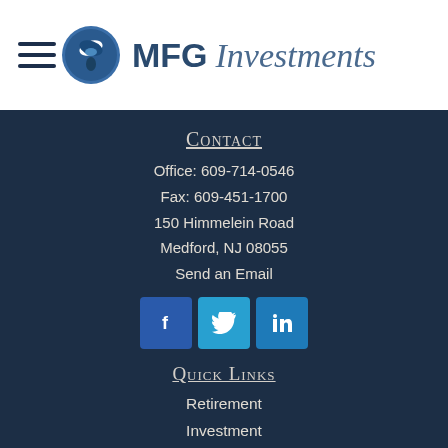MFG Investments
Contact
Office: 609-714-0546
Fax: 609-451-1700
150 Himmelein Road
Medford, NJ 08055
Send an Email
[Figure (illustration): Social media icons: Facebook, Twitter, LinkedIn]
Quick Links
Retirement
Investment
Estate
Insurance
Tax